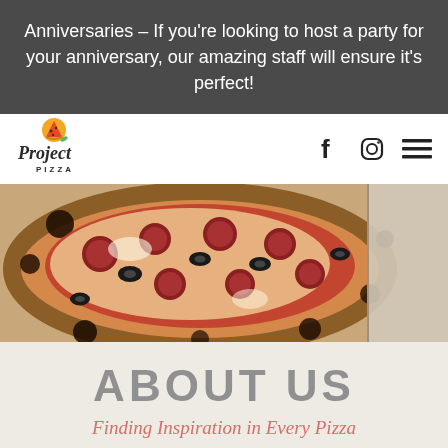Anniversaries - If you're looking to host a party for your anniversary, our amazing staff will ensure it's perfect!
[Figure (logo): Project Pizza logo — pizza slice icon above cursive 'Project' text with 'PIZZA' below]
[Figure (photo): Close-up photo of a wood-fired pizza with pepperoni, black olives, and charred crust in a cardboard box]
ABOUT US
Finding Inspiration in Every Pizza
After years of working for others, it became time for Chef Isaiah to put himself out there and make the